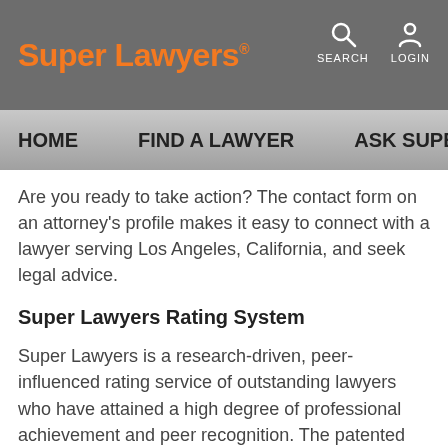Super Lawyers®  SEARCH  LOGIN
HOME   FIND A LAWYER   ASK SUPER L…
Are you ready to take action? The contact form on an attorney's profile makes it easy to connect with a lawyer serving Los Angeles, California, and seek legal advice.
Super Lawyers Rating System
Super Lawyers is a research-driven, peer-influenced rating service of outstanding lawyers who have attained a high degree of professional achievement and peer recognition. The patented selection process combines peer nominations, independent research evaluations and peer evaluations by practice area. Each year no more than 5 percent of the attorneys in the state are selected for the Super Lawyers list, and no more than 2.5 percent for the Rising Stars list.